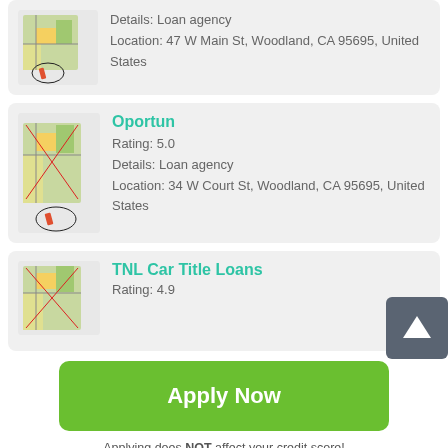[Figure (screenshot): Map icon with red X overlay and circled pencil icon for first loan agency listing]
Details: Loan agency
Location: 47 W Main St, Woodland, CA 95695, United States
[Figure (screenshot): Map icon with red X overlay and circled pencil icon for Oportun listing]
Oportun
Rating: 5.0
Details: Loan agency
Location: 34 W Court St, Woodland, CA 95695, United States
[Figure (screenshot): Map icon with red X overlay for TNL Car Title Loans listing]
TNL Car Title Loans
Rating: 4.9
[Figure (screenshot): Scroll to top button with upward arrow]
Apply Now
Applying does NOT affect your credit score! No credit check to apply.